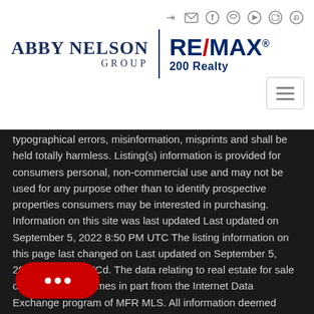[Figure (logo): Abby Nelson Group RE/MAX 200 Realty logo with social media icons and hamburger menu]
typographical errors, misinformation, misprints and shall be held totally harmless. Listing(s) information is provided for consumers personal, non-commercial use and may not be used for any purpose other than to identify prospective properties consumers may be interested in purchasing. Information on this site was last updated Last updated on September 5, 2022 8:50 PM UTC The listing information on this page last changed on Last updated on September 5, 2022 8:50 PM UTCd. The data relating to real estate for sale on this website comes in part from the Internet Data Exchange program of MFR MLS. All information deemed reliable but not guaranteed. All properties are subject to prior sale, change or withdrawal. Neither listing broker(s) or information provider(s) shall be responsible for any typographical errors, misinformation, misprints and shall be held totally harmless. Listing(s) information